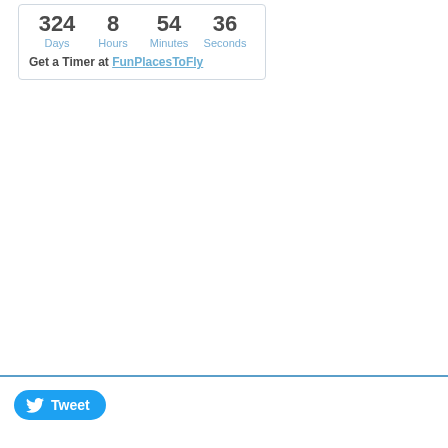[Figure (other): Countdown timer widget showing 324 Days, 8 Hours, 54 Minutes, 36 Seconds with a link 'Get a Timer at FunPlacesToFly']
Tweet